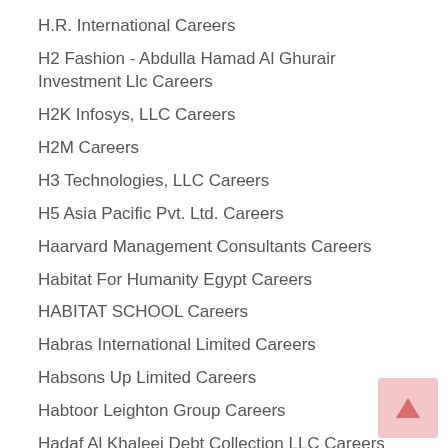H.R. International Careers
H2 Fashion - Abdulla Hamad Al Ghurair Investment Llc Careers
H2K Infosys, LLC Careers
H2M Careers
H3 Technologies, LLC Careers
H5 Asia Pacific Pvt. Ltd. Careers
Haarvard Management Consultants Careers
Habitat For Humanity Egypt Careers
HABITAT SCHOOL Careers
Habras International Limited Careers
Habsons Up Limited Careers
Habtoor Leighton Group Careers
Hadaf Al Khaleej Debt Collection LLC Careers
HADAF Middle East Careers